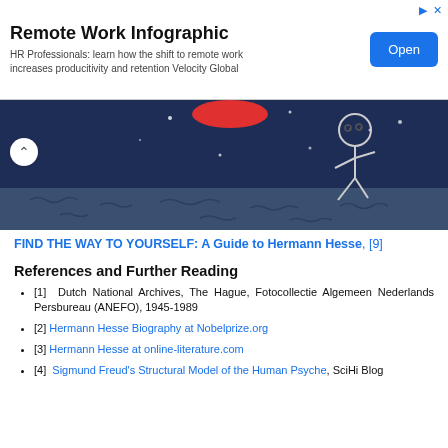[Figure (screenshot): Advertisement banner: 'Remote Work Infographic' with subtitle 'HR Professionals: learn how the shift to remote work increases productivity and retention Velocity Global' and a blue 'Open' button on the right.]
[Figure (illustration): A cartoon scene showing a stick figure walking on a dark blue night landscape with a red object in the upper center area and small white dots representing stars.]
FIND THE WAY TO YOURSELF: A Guide to Hermann Hesse, [9]
References and Further Reading
[1] Dutch National Archives, The Hague, Fotocollectie Algemeen Nederlands Persbureau (ANEFO), 1945-1989
[2] Hermann Hesse Biography at Nobelprize.org
[3] Hermann Hesse at online-literature.com
[4] Sigmund Freud's Structural Model of the Human Psyche, SciHi Blog